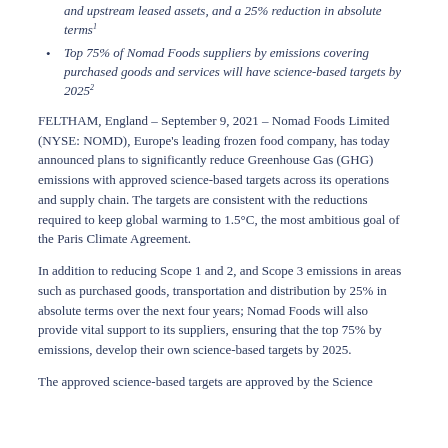and upstream leased assets, and a 25% reduction in absolute terms¹
Top 75% of Nomad Foods suppliers by emissions covering purchased goods and services will have science-based targets by 2025²
FELTHAM, England – September 9, 2021 – Nomad Foods Limited (NYSE: NOMD), Europe's leading frozen food company, has today announced plans to significantly reduce Greenhouse Gas (GHG) emissions with approved science-based targets across its operations and supply chain. The targets are consistent with the reductions required to keep global warming to 1.5°C, the most ambitious goal of the Paris Climate Agreement.
In addition to reducing Scope 1 and 2, and Scope 3 emissions in areas such as purchased goods, transportation and distribution by 25% in absolute terms over the next four years; Nomad Foods will also provide vital support to its suppliers, ensuring that the top 75% by emissions, develop their own science-based targets by 2025.
The approved science-based targets are approved by the Science...